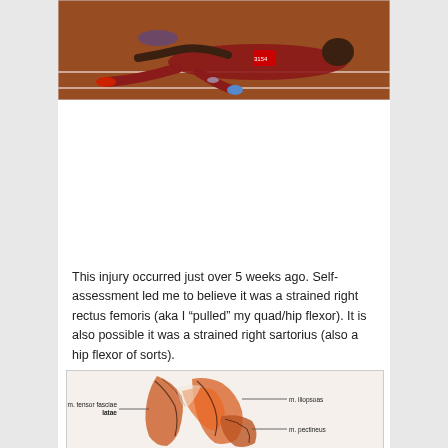[Figure (photo): Athlete collapsed on track, wearing red uniform with number 3154, lying on ground after injury]
This injury occurred just over 5 weeks ago.  Self-assessment led me to believe it was a strained right rectus femoris (aka I “pulled” my quad/hip flexor).  It is also possible it was a strained right sartorius (also a hip flexor of sorts).
[Figure (illustration): Anatomical illustration of hip flexor muscles showing m. tensor fasciae latae, m. iliopsoas, and m. pectineus labeled with lines]